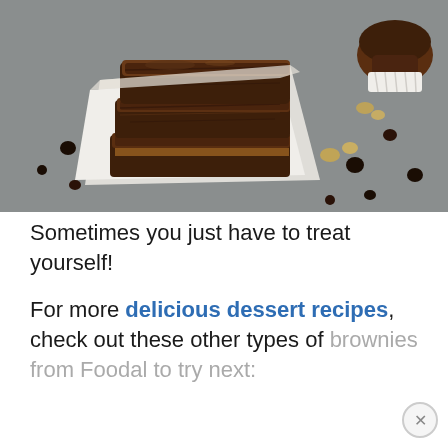[Figure (photo): Stack of chocolate brownies on white parchment paper, surrounded by chocolate chips and walnut pieces on a gray surface. A chocolate cupcake or muffin is visible in the upper right corner.]
Sometimes you just have to treat yourself!
For more delicious dessert recipes, check out these other types of brownies from Foodal to try next: